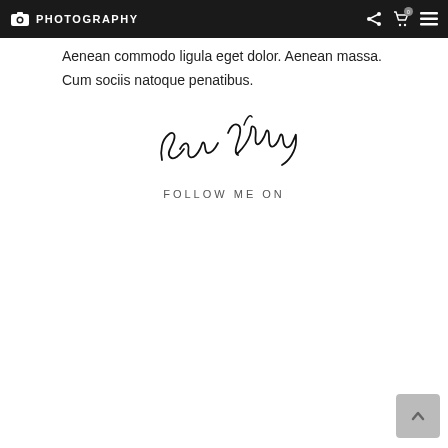PHOTOGRAPHY
Aenean commodo ligula eget dolor. Aenean massa. Cum sociis natoque penatibus.
[Figure (illustration): Cursive handwritten signature reading 'John Phillips']
FOLLOW ME ON